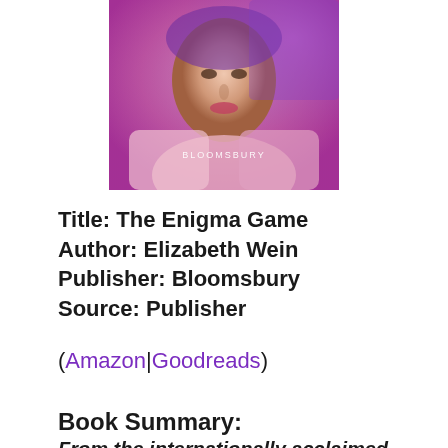[Figure (photo): Book cover of The Enigma Game by Elizabeth Wein, published by Bloomsbury. A close-up of a person's face with pink and purple lighting tones, with the Bloomsbury publisher name visible on the cover.]
Title: The Enigma Game
Author: Elizabeth Wein
Publisher: Bloomsbury
Source: Publisher
(Amazon|Goodreads)
Book Summary:
From the internationally acclaimed bestselling author of Code Name Verity comes a thrilling story of